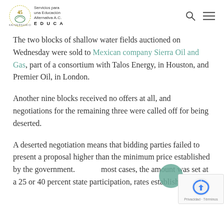Servicios para una Educación Alternativa A.C. EDUCA
The two blocks of shallow water fields auctioned on Wednesday were sold to Mexican company Sierra Oil and Gas, part of a consortium with Talos Energy, in Houston, and Premier Oil, in London.
Another nine blocks received no offers at all, and negotiations for the remaining three were called off for being deserted.
A deserted negotiation means that bidding parties failed to present a proposal higher than the minimum price established by the government. In most cases, the amount was set at a 25 or 40 percent state participation, rates established by